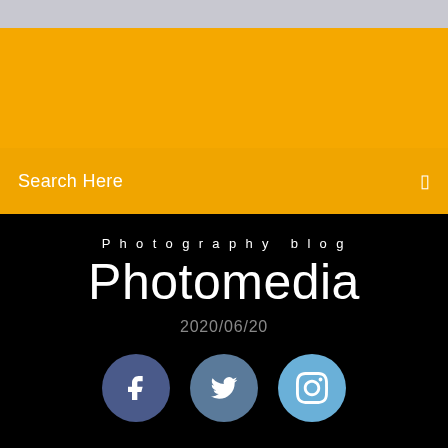[Figure (photo): Top partial image strip, light gray/blue tones]
Search Here
Photography blog
Photomedia
2020/06/20
[Figure (illustration): Social media icons: Facebook, Twitter, Instagram circles]